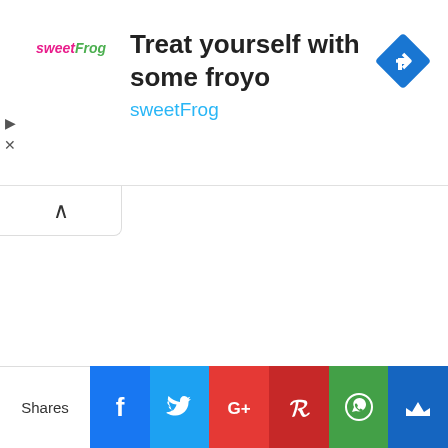[Figure (screenshot): SweetFrog advertisement banner with logo, text 'Treat yourself with some froyo', 'sweetFrog' subtitle, and a blue navigation diamond icon]
[Figure (screenshot): Collapse/accordion button with upward caret symbol]
RECTEM Post UTME Form
We use cookies on our website to give you the most relevant experience by remembering your preferences and repeat visits. By clicking "Accept All", you consent to the use of ALL the cookies. However, you may visit "Cookie Settings" to provide a controlled consent.
[Figure (screenshot): Social sharing bar with Facebook, Twitter, Google+, Pinterest, WhatsApp, and Crown icons. Label 'Shares' on the left.]